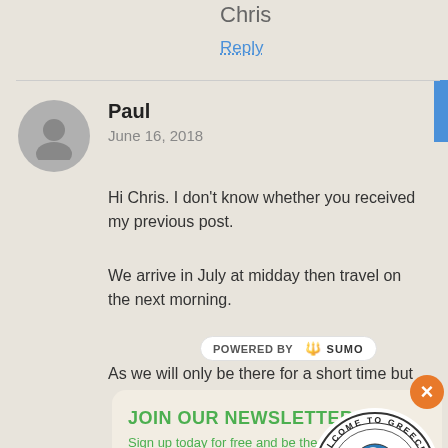Chris
Reply
Paul
June 16, 2018
Hi Chris. I don't know whether you received my previous post.
We arrive in July at midday then travel on the next morning.
As we will only be there for a short time but could
POWERED BY SUMO
JOIN OUR NEWSLETTER
Sign up today for free and be the first to get notified on new updates.
Enter your Email
SUBSCRIBE NOW
NO THANKS
[Figure (logo): Welcome to Greece Rhodes Hellas circular stamp logo]
Shares